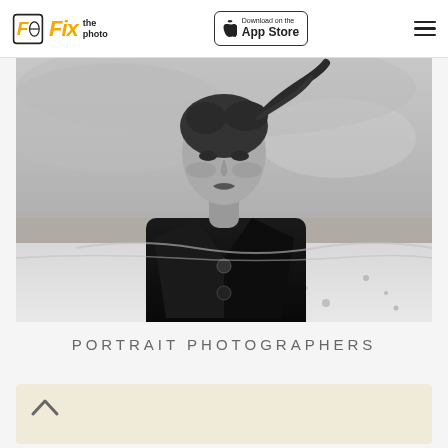Fix the photo | Download on the App Store
[Figure (photo): Black and white portrait photo of a young woman in a black double-breasted blazer, looking intensely at the camera, with a blurred outdoor background of sand and sky.]
PORTRAIT PHOTOGRAPHERS
[Figure (other): Light tan/beige card with an upward-pointing caret chevron symbol in the lower section of the page.]